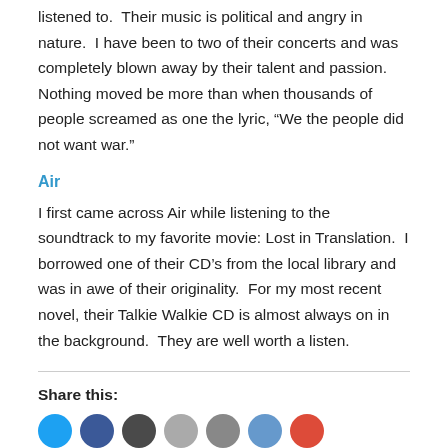listened to.  Their music is political and angry in nature.  I have been to two of their concerts and was completely blown away by their talent and passion.  Nothing moved be more than when thousands of people screamed as one the lyric, “We the people did not want war.”
Air
I first came across Air while listening to the soundtrack to my favorite movie: Lost in Translation.  I borrowed one of their CD’s from the local library and was in awe of their originality.  For my most recent novel, their Talkie Walkie CD is almost always on in the background.  They are well worth a listen.
Share this: